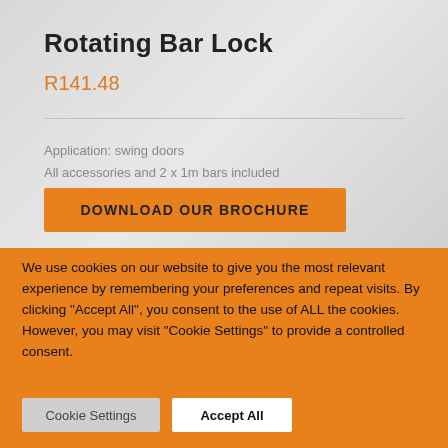Rotating Bar Lock
R141.48
Application: swing doors
All accessories and 2 x 1m bars included
DOWNLOAD OUR BROCHURE
We use cookies on our website to give you the most relevant experience by remembering your preferences and repeat visits. By clicking "Accept All", you consent to the use of ALL the cookies. However, you may visit "Cookie Settings" to provide a controlled consent.
Cookie Settings
Accept All